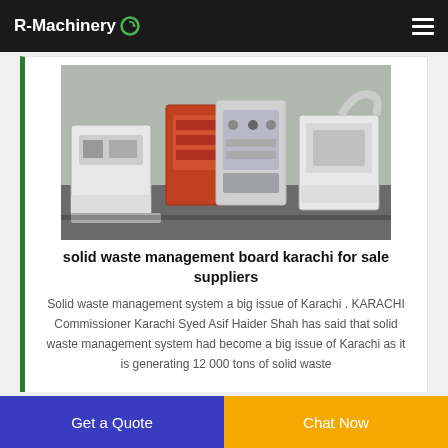R-Machinery
[Figure (photo): Industrial machinery equipment — solid waste management machines including shredders and control panels in a warehouse setting]
solid waste management board karachi for sale suppliers
Solid waste management system a big issue of Karachi . KARACHI Commissioner Karachi Syed Asif Haider Shah has said that solid waste management system had become a big issue of Karachi as it is generating 12 000 tons of solid waste
Get a Quote  Chat Now